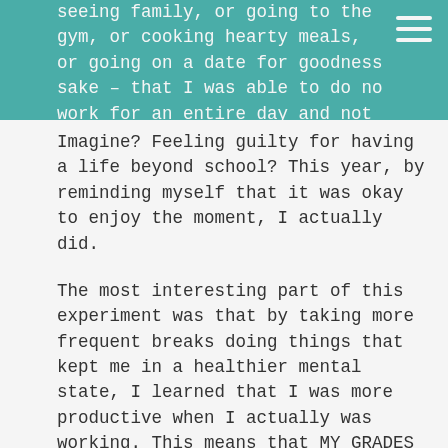seeing family, or going to the gym, or cooking hearty meals, or going on a date for goodness sake – that I was able to do no work for an entire day and not feel that pit in my stomach.
Imagine? Feeling guilty for having a life beyond school? This year, by reminding myself that it was okay to enjoy the moment, I actually did.
The most interesting part of this experiment was that by taking more frequent breaks doing things that kept me in a healthier mental state, I learned that I was more productive when I actually was working. This means that MY GRADES ENDED UP BEING THE SAME! How crazy is it that precisely because I was spending less time thinking about school, I was able to re-charge and think more clearly while doing school?
Perhaps this is why the word "productive" started to bug me when I heard it being used by friends. I realized that when I'd ask "how was your day?" many student friends would say "I wasn't productive." They could have had a full day with friends and re-energized their mental health, but it wasn't "productive" academically, so they didn't feel good about their day. And all